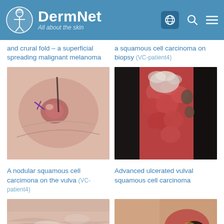DermNet — All about the skin
and crural fold – a superficial spreading malignant melanoma
a squamous cell carcinoma on biopsy (VC-patient4)
[Figure (photo): A nodular squamous cell carcinoma on the vulva with purple surgical markings]
[Figure (photo): Advanced ulcerated vulval squamous cell carcinoma showing raw tissue]
A nodular squamous cell carcimona on the vulva (VC-patient4)
Advanced ulcerated vulval squamous cell carcinoma
[Figure (photo): Partial view of skin lesion – lower left]
[Figure (photo): Partial view of skin lesion with dark necrotic area – lower right]